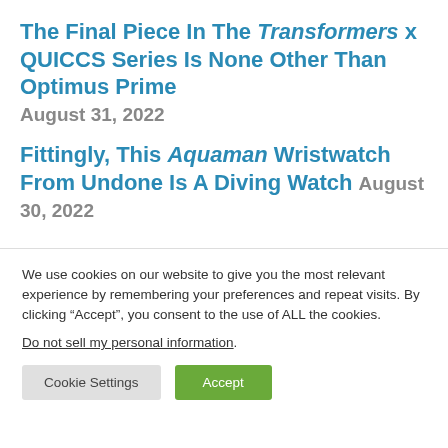The Final Piece In The Transformers x QUICCS Series Is None Other Than Optimus Prime
August 31, 2022
Fittingly, This Aquaman Wristwatch From Undone Is A Diving Watch August 30, 2022
We use cookies on our website to give you the most relevant experience by remembering your preferences and repeat visits. By clicking “Accept”, you consent to the use of ALL the cookies.
Do not sell my personal information.
Cookie Settings
Accept